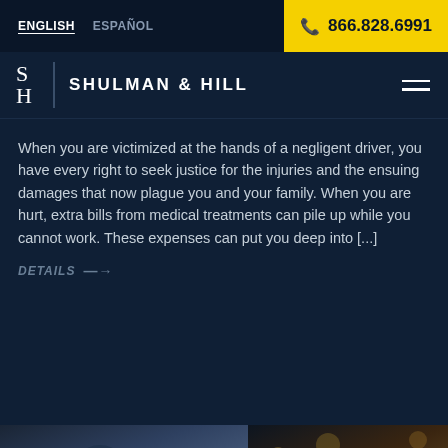ENGLISH  ESPAÑOL  866.828.6991
SHULMAN & HILL
When you are victimized at the hands of a negligent driver, you have every right to seek justice for the injuries and the ensuing damages that now plague you and your family. When you are hurt, extra bills from medical treatments can pile up while you cannot work. These expenses can put you deep into [...]
DETAILS →
Amy is typing...
[Figure (photo): Two partial photo strips at the bottom: left shows a person (blurred), right shows a bokeh/night scene with a female avatar circle in bottom right corner.]